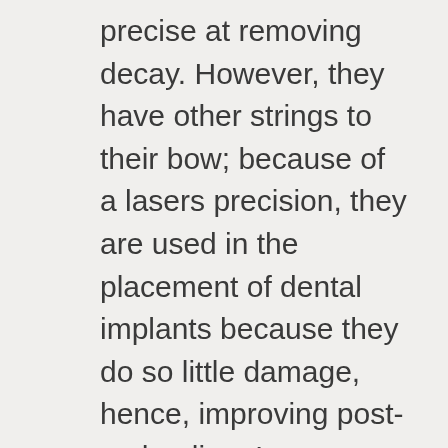precise at removing decay. However, they have other strings to their bow; because of a lasers precision, they are used in the placement of dental implants because they do so little damage, hence, improving post-op healing. Lasers are also used in the contouring of gums; again, because there is no cutting involved from a scalpel, the gums have a reduced trauma and heal so much faster. But probably, the most popular use of the laser is in tooth whitening. This has become the 'must have' treatment to put the smile back on your face. Your